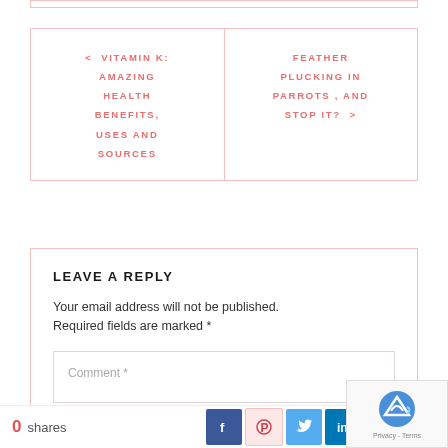< VITAMIN K: AMAZING HEALTH BENEFITS, USES AND SOURCES
FEATHER PLUCKING IN PARROTS , AND STOP IT? >
LEAVE A REPLY
Your email address will not be published. Required fields are marked *
Comment *
0 shares